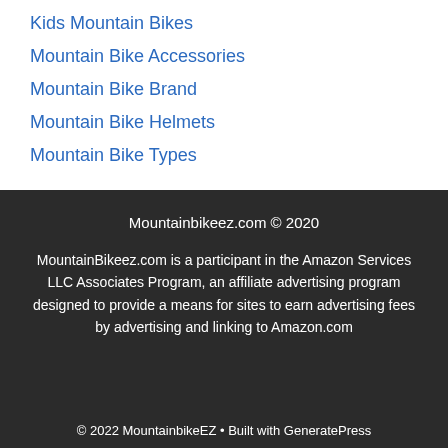Kids Mountain Bikes
Mountain Bike Accessories
Mountain Bike Brand
Mountain Bike Helmets
Mountain Bike Types
Mountainbikeez.com © 2020
MountainBikeez.com is a participant in the Amazon Services LLC Associates Program, an affiliate advertising program designed to provide a means for sites to earn advertising fees by advertising and linking to Amazon.com
© 2022 MountainbikeEZ • Built with GeneratePress